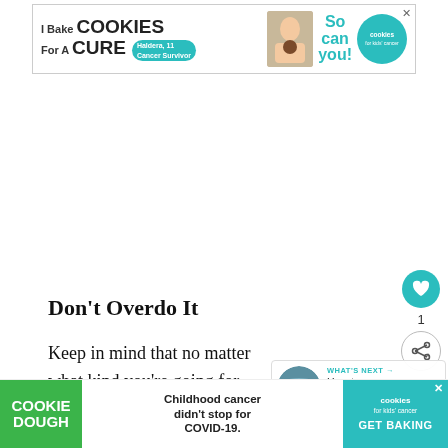[Figure (infographic): Banner ad: I Bake COOKIES For A CURE - Haldera, 11 Cancer Survivor - So can you! Cookies for Kids Cancer logo]
Don't Overdo It
[Figure (infographic): Floating sidebar action buttons: heart/like icon (teal circle), count '1', and share icon]
[Figure (infographic): WHAT'S NEXT popup: thumbnail of ocean/landscape, text 'How to choose the...']
Keep in mind that no matter what kind you're going for, it's about relaxation and fun. It's not necessary to re-create your kids' playroom or b...
[Figure (infographic): Bottom ad: COOKIE DOUGH green block on left, center text 'Childhood cancer didn't stop for COVID-19.', right teal section 'cookies for kids cancer GET BAKING' with X close button]